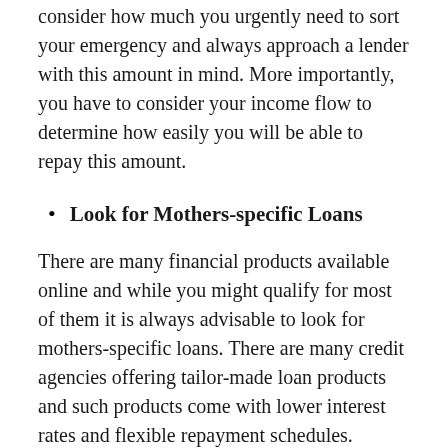consider how much you urgently need to sort your emergency and always approach a lender with this amount in mind. More importantly, you have to consider your income flow to determine how easily you will be able to repay this amount.
Look for Mothers-specific Loans
There are many financial products available online and while you might qualify for most of them it is always advisable to look for mothers-specific loans. There are many credit agencies offering tailor-made loan products and such products come with lower interest rates and flexible repayment schedules.
Ask for Referrals
There are hundreds of online loan providers and